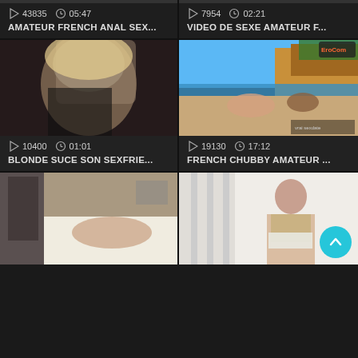[Figure (screenshot): Video thumbnail grid showing adult video website with 6 video cards in 2-column layout. Each card shows a thumbnail image, play count, duration, and title.]
43835  05:47
AMATEUR FRENCH ANAL SEX...
7954  02:21
VIDEO DE SEXE AMATEUR F...
10400  01:01
BLONDE SUCE SON SEXFRIE...
19130  17:12
FRENCH CHUBBY AMATEUR ...